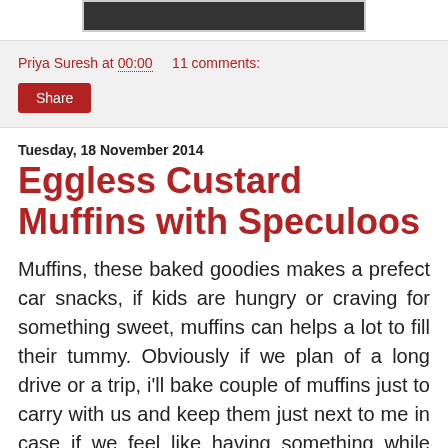[Figure (photo): Dark rectangular image at the top of the page, partially visible]
Priya Suresh at 00:00    11 comments:
Share
Tuesday, 18 November 2014
Eggless Custard Muffins with Speculoos
Muffins, these baked goodies makes a prefect car snacks, if kids are hungry or craving for something sweet, muffins can helps a lot to fill their tummy. Obviously if we plan of a long drive or a trip, i'll bake couple of muffins just to carry with us and keep them just next to me in case if we feel like having something while driving. Muffins are seriously a prefect finger food,you can have without any fuss. After roasted lotus seeds and salt biscuits my today's post goes to this week's blogging marathon as i picked Car snacks as theme. Today's